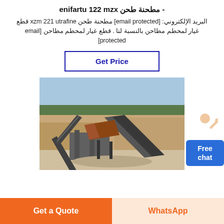- مطحنة طحن xzm 221 utrafine
البريد الإلكتروني: [email protected] مطحنة طحن xzm 221 utrafine قطع غيار لمحطم مطاحن بالنسبة لنا . قطع غيار لمحطم مطاحن [email protected]
[Figure (other): Button labeled Get Price with blue border]
[Figure (photo): Outdoor mining site with conveyor belts and industrial crushing equipment against a rocky hillside backdrop]
[Figure (illustration): Customer service representative figure with Free chat button]
Partial Arabic text visible at bottom of content area
Get a Quote | WhatsApp